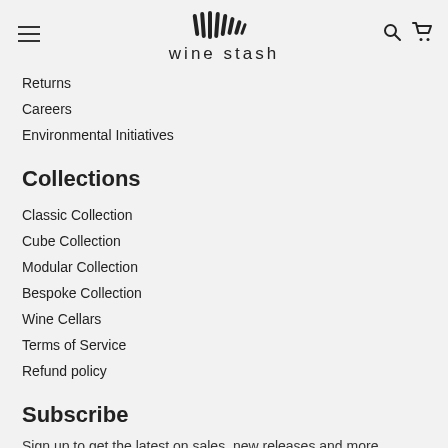wine stash — navigation header with hamburger menu, logo, search and cart icons
Returns
Careers
Environmental Initiatives
Collections
Classic Collection
Cube Collection
Modular Collection
Bespoke Collection
Wine Cellars
Terms of Service
Refund policy
Subscribe
Sign up to get the latest on sales, new releases and more …